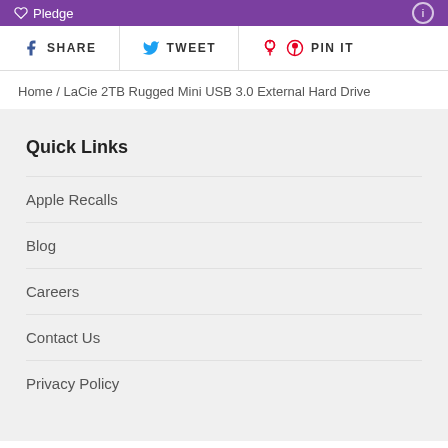Pledge
SHARE  TWEET  PIN IT
Home / LaCie 2TB Rugged Mini USB 3.0 External Hard Drive
Quick Links
Apple Recalls
Blog
Careers
Contact Us
Privacy Policy